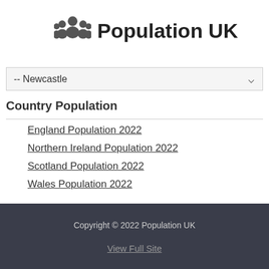Population UK
[Figure (illustration): People/group icon in dark grey]
-- Newcastle
Country Population
England Population 2022
Northern Ireland Population 2022
Scotland Population 2022
Wales Population 2022
Copyright © 2022 Population UK
View Full Site